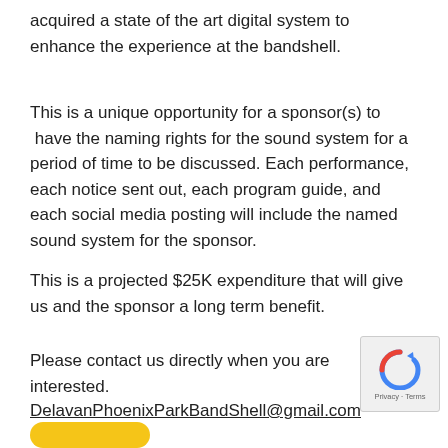acquired a state of the art digital system to enhance the experience at the bandshell.
This is a unique opportunity for a sponsor(s) to have the naming rights for the sound system for a period of time to be discussed. Each performance, each notice sent out, each program guide, and each social media posting will include the named sound system for the sponsor.
This is a projected $25K expenditure that will give us and the sponsor a long term benefit.
Please contact us directly when you are interested.
DelavanPhoenixParkBandShell@gmail.com
[Figure (other): reCAPTCHA logo with Privacy and Terms text]